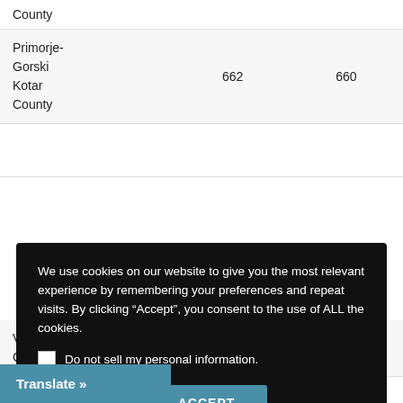| County |  |  |
| --- | --- | --- |
| County |  |  |
| Primorje-Gorski Kotar County | 662 | 660 |
| Varaždin County | 208 | 228 |
| Virovitica-Podravina | 76 | 41 |
We use cookies on our website to give you the most relevant experience by remembering your preferences and repeat visits. By clicking “Accept”, you consent to the use of ALL the cookies.
Do not sell my personal information.
Cookie settings  ACCEPT
Translate »